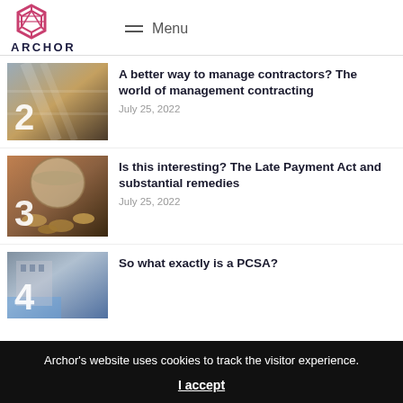ARCHOR — Menu
[Figure (photo): Building interior with number 2 overlay]
A better way to manage contractors? The world of management contracting
July 25, 2022
[Figure (photo): Coins jar with number 3 overlay]
Is this interesting? The Late Payment Act and substantial remedies
July 25, 2022
[Figure (photo): Office scene with number 4 overlay]
So what exactly is a PCSA?
Archor's website uses cookies to track the visitor experience. I accept